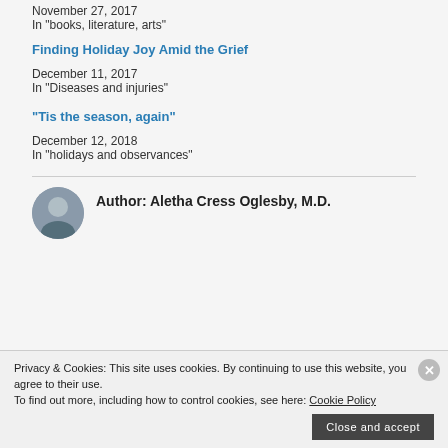November 27, 2017
In "books, literature, arts"
Finding Holiday Joy Amid the Grief
December 11, 2017
In "Diseases and injuries"
“Tis the season, again”
December 12, 2018
In "holidays and observances"
Author: Aletha Cress Oglesby, M.D.
Privacy & Cookies: This site uses cookies. By continuing to use this website, you agree to their use.
To find out more, including how to control cookies, see here: Cookie Policy
Close and accept